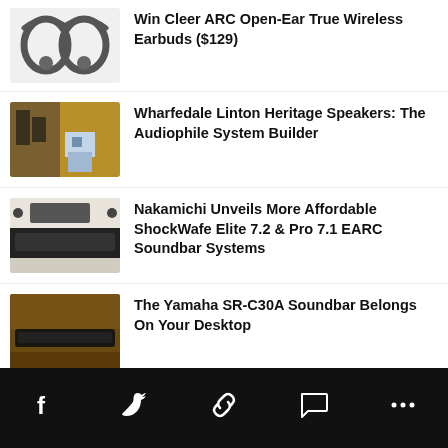Win Cleer ARC Open-Ear True Wireless Earbuds ($129)
Wharfedale Linton Heritage Speakers: The Audiophile System Builder
Nakamichi Unveils More Affordable ShockWafe Elite 7.2 & Pro 7.1 EARC Soundbar Systems
The Yamaha SR-C30A Soundbar Belongs On Your Desktop
Best Bookshelf Speakers From $1,000 To $3,000: Video
Hisense U7H & U8H Series TVs Receive WiSA SoundSend